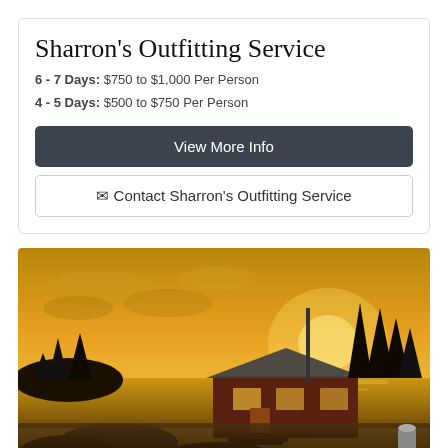Sharron's Outfitting Service
6 - 7 Days: $750 to $1,000 Per Person
4 - 5 Days: $500 to $750 Per Person
View More Info
✉ Contact Sharron's Outfitting Service
[Figure (photo): Sunset photo of a rustic wood cabin on a rocky lakeside, surrounded by pine trees, with warm golden-orange sky reflecting on the lake water.]